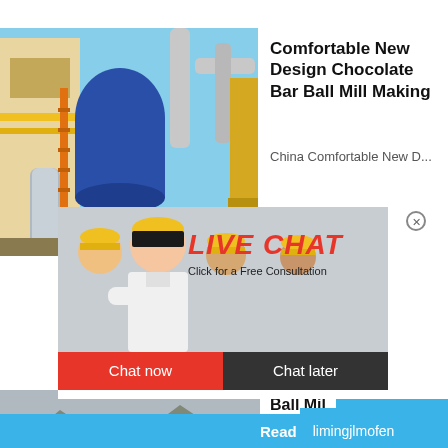[Figure (photo): Industrial ball mill facility with blue tank and metallic pipes]
Comfortable New Design Chocolate Bar Ball Mill Making
China Comfortable New D...
[Figure (screenshot): Live Chat popup with workers in hard hats, red LIVE CHAT text, Chat now and Chat later buttons]
[Figure (photo): Quarry/mining site with heavy machinery and mountains in background]
Ball Mill Principle Parts
2015-7-1...
[Figure (screenshot): Blue right panel with crusher machine image, hour online text, Click me to chat>> button, Enquiry button]
Read  limingjlmofen